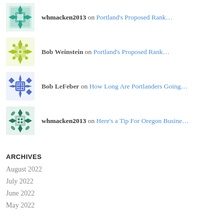whmacken2013 on Portland's Proposed Rank...
Bob Weinstein on Portland's Proposed Rank...
Bob LeFeber on How Long Are Portlanders Going...
whmacken2013 on Here's a Tip For Oregon Busine...
ARCHIVES
August 2022
July 2022
June 2022
May 2022